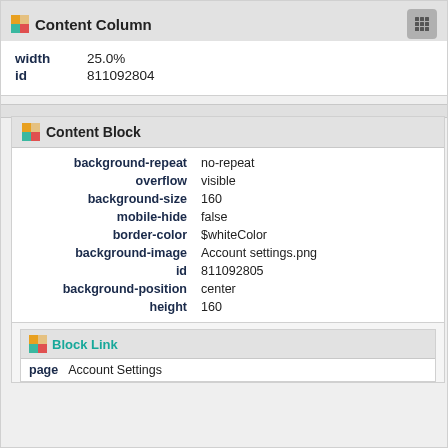Content Column
| property | value |
| --- | --- |
| width | 25.0% |
| id | 811092804 |
Content Block
| property | value |
| --- | --- |
| background-repeat | no-repeat |
| overflow | visible |
| background-size | 160 |
| mobile-hide | false |
| border-color | $whiteColor |
| background-image | Account settings.png |
| id | 811092805 |
| background-position | center |
| height | 160 |
Block Link
page Account Settings